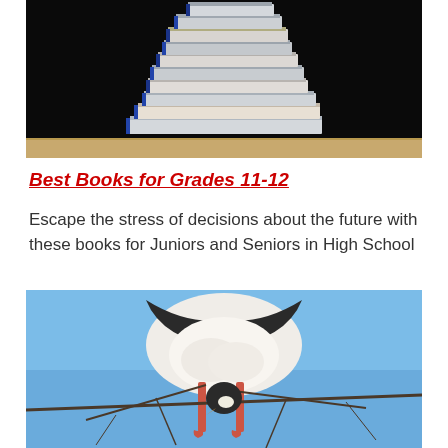[Figure (photo): Stack of books balancing on top of each other against a black background on a wooden surface]
Best Books for Grades 11-12
Escape the stress of decisions about the future with these books for Juniors and Seniors in High School
[Figure (photo): A bird (stork or heron) perched upside down on bare branches against a blue sky, showing its underside with pink/red legs]